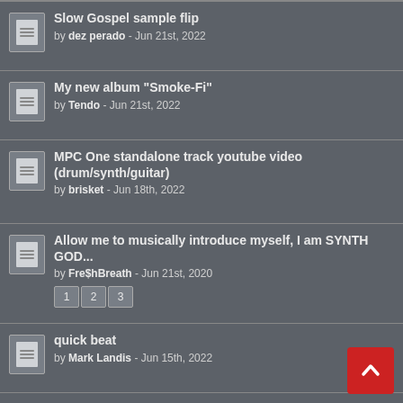Slow Gospel sample flip by dez perado - Jun 21st, 2022
My new album "Smoke-Fi" by Tendo - Jun 21st, 2022
MPC One standalone track youtube video (drum/synth/guitar) by brisket - Jun 18th, 2022
Allow me to musically introduce myself, I am SYNTH GOD... by Fre$hBreath - Jun 21st, 2020
quick beat by Mark Landis - Jun 15th, 2022
Worked on a beautiful Willie Hutch sample by RensBeats - Jun 9th, 2022